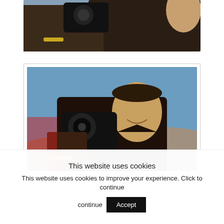[Figure (photo): Cropped upper portion of a man holding a camera outdoors, wearing a dark shirt and a gold bracelet, with a road and hills visible in background.]
[Figure (photo): A smiling man holding a camera, wearing a dark shirt and gold bracelet, photographed outdoors with a blue sky and hills in background.]
This website uses cookies
This website uses cookies to improve your experience. Click to continue
Accept